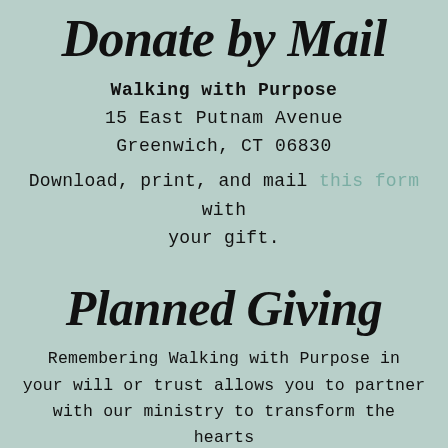Donate by Mail
Walking with Purpose
15 East Putnam Avenue
Greenwich, CT 06830
Download, print, and mail this form with your gift.
Planned Giving
Remembering Walking with Purpose in your will or trust allows you to partner with our ministry to transform the hearts and lives of women and girls as they